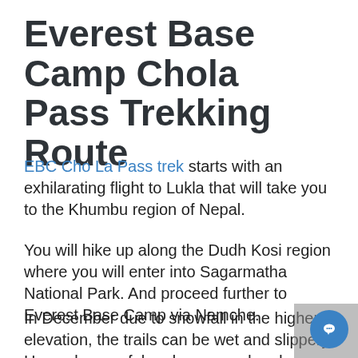Everest Base Camp Chola Pass Trekking Route
EBC Cho La Pass trek starts with an exhilarating flight to Lukla that will take you to the Khumbu region of Nepal.
You will hike up along the Dudh Kosi region where you will enter into Sagarmatha National Park. And proceed further to Everest Base Camp via Namche.
In December due to snowfall in the higher elevation, the trails can be wet and slippery. Hence be careful and on a good and comfortable pair of trekking boots.